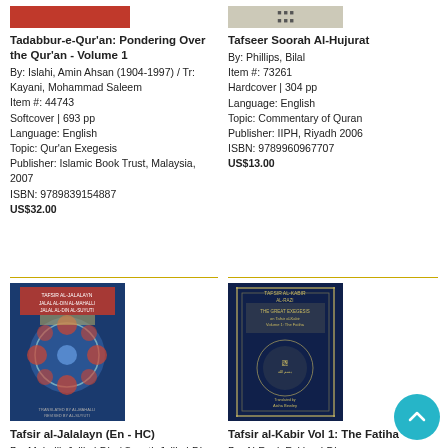[Figure (photo): Book cover thumbnail for Tadabbur-e-Quran, red background]
Tadabbur-e-Qur'an: Pondering Over the Qur'an - Volume 1
By: Islahi, Amin Ahsan (1904-1997) / Tr: Kayani, Mohammad Saleem
Item #: 44743
Softcover | 693 pp
Language: English
Topic: Qur'an Exegesis
Publisher: Islamic Book Trust, Malaysia, 2007
ISBN: 9789839154887
US$32.00
[Figure (photo): Book cover thumbnail for Tafseer Soorah Al-Hujurat, light beige]
Tafseer Soorah Al-Hujurat
By: Phillips, Bilal
Item #: 73261
Hardcover | 304 pp
Language: English
Topic: Commentary of Quran
Publisher: IIPH, Riyadh 2006
ISBN: 9789960967707
US$13.00
[Figure (photo): Book cover for Tafsir al-Jalalayn (En - HC), dark blue with geometric pattern]
Tafsir al-Jalalayn (En - HC)
By: Mahalli, Jalil al-Din / Suyuti, Jalil al-Din
[Figure (photo): Book cover for Tafsir al-Kabir Vol 1: The Fatiha, dark navy blue]
Tafsir al-Kabir Vol 1: The Fatiha
By: Al-Razi, Fakhr al-Din